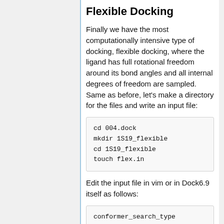Flexible Docking
Finally we have the most computationally intensive type of docking, flexible docking, where the ligand has full rotational freedom around its bond angles and all internal degrees of freedom are sampled. Same as before, let's make a directory for the files and write an input file:
cd 004.dock
mkdir 1S19_flexible
cd 1S19_flexible
touch flex.in
Edit the input file in vim or in Dock6.9 itself as follows:
conformer_search_type
flex